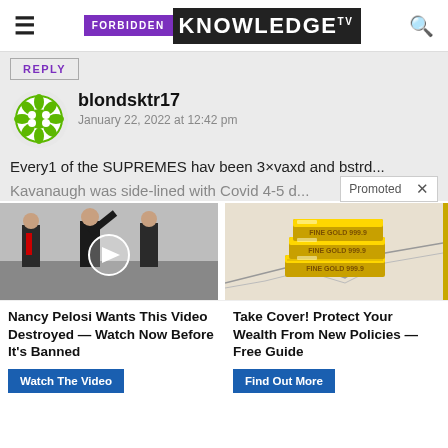FORBIDDEN KNOWLEDGE TV
REPLY
blondsktr17
January 22, 2022 at 12:42 pm
Every1 of the SUPREMES hav been 3×vaxd and bstrd...
Kavanaugh was side-lined with Covid 4-5 d...
Promoted ×
[Figure (photo): Two men in suits, one waving, outdoors on tarmac, with play button overlay]
[Figure (photo): Gold bars stacked on financial chart paper]
Nancy Pelosi Wants This Video Destroyed — Watch Now Before It's Banned
Watch The Video
Take Cover! Protect Your Wealth From New Policies — Free Guide
Find Out More